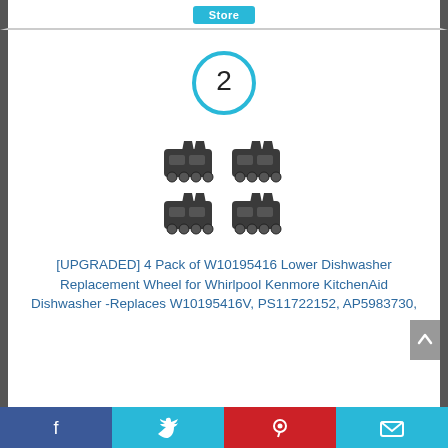[Figure (screenshot): Partial 'Store' button visible at top]
[Figure (other): Circle badge with number 2 rank indicator, cyan/light blue border]
[Figure (photo): Product photo of 4 dark plastic dishwasher lower rack wheels arranged in 2x2 grid]
[UPGRADED] 4 Pack of W10195416 Lower Dishwasher Replacement Wheel for Whirlpool Kenmore KitchenAid Dishwasher -Replaces W10195416V, PS11722152, AP5983730,
[Figure (other): Social sharing bar at bottom: Facebook, Twitter, Pinterest, Email buttons]